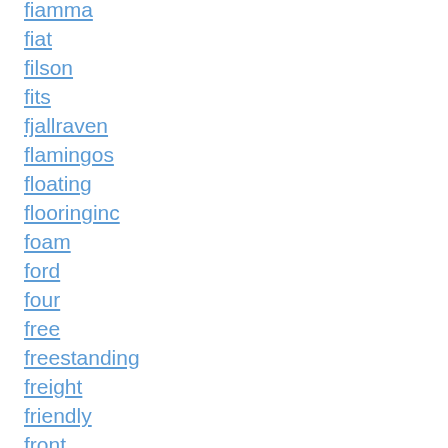fiamma
fiat
filson
fits
fjallraven
flamingos
floating
flooringinc
foam
ford
four
free
freestanding
freight
friendly
front
frozen